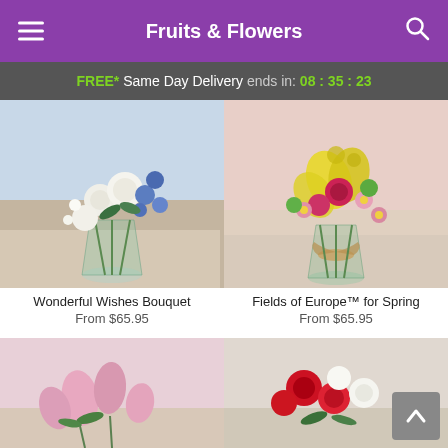Fruits & Flowers
FREE* Same Day Delivery ends in: 08 : 35 : 23
[Figure (photo): Wonderful Wishes Bouquet - white roses and blue flowers in a glass vase]
Wonderful Wishes Bouquet
From $65.95
[Figure (photo): Fields of Europe for Spring - yellow lilies, pink roses, and mixed colorful flowers in a glass vase with ribbon]
Fields of Europe™ for Spring
From $65.95
[Figure (photo): Bottom left flower arrangement - pink flowers partially visible]
[Figure (photo): Bottom right flower arrangement - red and white flowers partially visible]